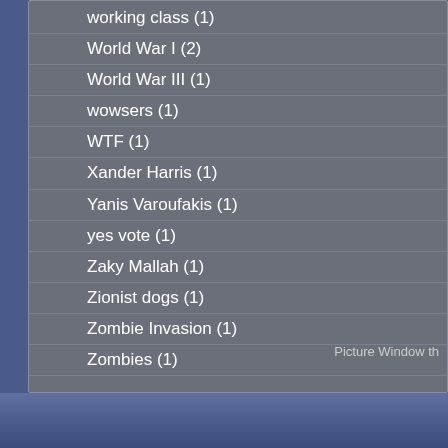working class (1)
World War I (2)
World War III (1)
wowsers (1)
WTF (1)
Xander Harris (1)
Yanis Varoufakis (1)
yes vote (1)
Zaky Mallah (1)
Zionist dogs (1)
Zombie Invasion (1)
Zombies (1)
Picture Window th